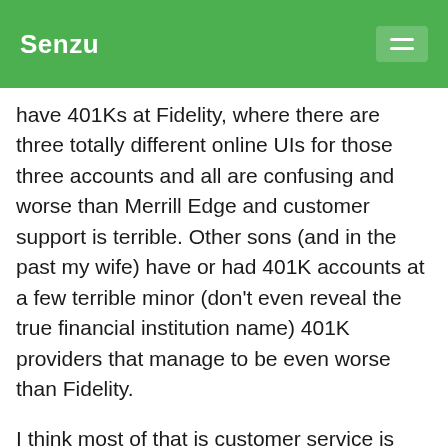Senzu
have 401Ks at Fidelity, where there are three totally different online UIs for those three accounts and all are confusing and worse than Merrill Edge and customer support is terrible. Other sons (and in the past my wife) have or had 401K accounts at a few terrible minor (don't even reveal the true financial institution name) 401K providers that manage to be even worse than Fidelity.
I think most of that is customer service is just worse in ESPP and 401K accounts than in taxable and IRA accounts. Since I have only taxable and IRA accounts at Merrill Edge and only ESPP and 401K